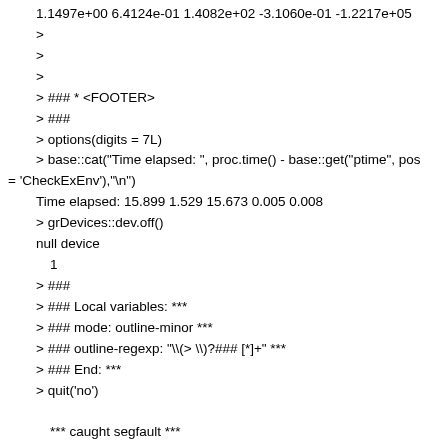1.1497e+00 6.4124e-01 1.4082e+02 -3.1060e-01 -1.2217e+05
>
>
>
> ### * <FOOTER>
> ###
> options(digits = 7L)
> base::cat("Time elapsed: ", proc.time() - base::get("ptime", pos = 'CheckExEnv'),"\n")
Time elapsed: 15.899 1.529 15.673 0.005 0.008
> grDevices::dev.off()
null device
 1
> ###
> ### Local variables: ***
> ### mode: outline-minor ***
> ### outline-regexp: "\\(> \\)?### [*]+" ***
> ### End: ***
> quit('no')

 *** caught segfault ***
address 0x60, cause 'memory not mapped'
An irrecoverable exception occurred. R is aborting now ...
Flavor: r-oldrel-osx-x86_64